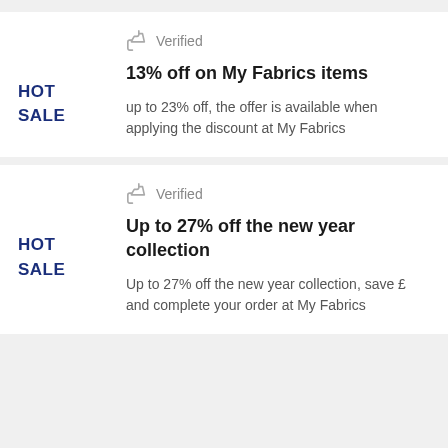Verified
13% off on My Fabrics items
HOT
SALE
up to 23% off, the offer is available when applying the discount at My Fabrics
Verified
Up to 27% off the new year collection
HOT
SALE
Up to 27% off the new year collection, save £ and complete your order at My Fabrics